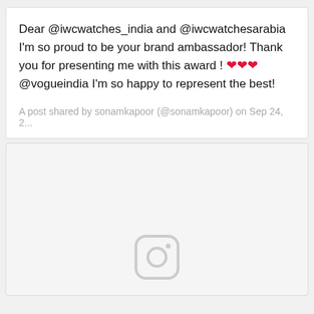Dear @iwcwatches_india and @iwcwatchesarabia I'm so proud to be your brand ambassador! Thank you for presenting me with this award ! ❤❤❤ @vogueindia I'm so happy to represent the best!
A post shared by sonamkapoor (@sonamkapoor) on Sep 24, 2...
[Figure (photo): Instagram placeholder image with Instagram camera icon centered at bottom, light gray background]